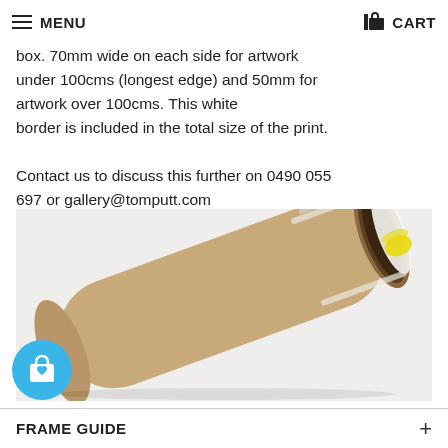MENU   CART
box. 70mm wide on each side for artwork under 100cms (longest edge) and 50mm for artwork over 100cms. This white border is included in the total size of the print.

Contact us to discuss this further on 0490 055 697 or gallery@tomputt.com
[Figure (photo): A cardboard mailing tube lying diagonally with a rolled white print partially visible inside, secured with a yellow elastic band, on a white background.]
FRAME GUIDE